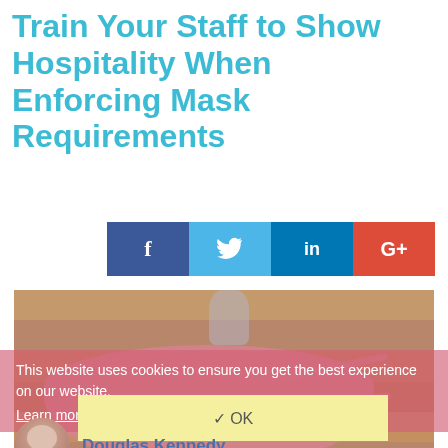Train Your Staff to Show Hospitality When Enforcing Mask Requirements
[Figure (other): Social share buttons row: Facebook (f), Twitter (bird), LinkedIn (in), Google+ (G+)]
[Figure (photo): Photo of a pink face mask lying on a wooden surface with a hand sanitizer bottle, overlaid by a semi-transparent pink cookie consent banner]
This website uses cookies to ensure you get the best experience on our website. Learn more
✓ OK
Douglas Kennedy